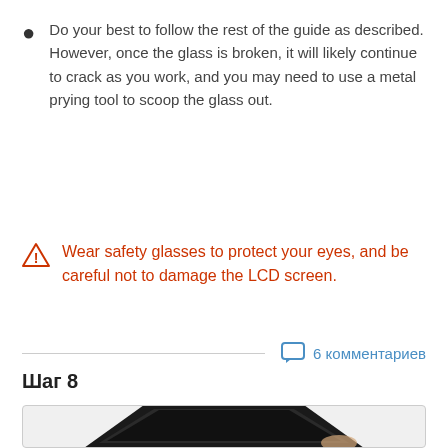Do your best to follow the rest of the guide as described. However, once the glass is broken, it will likely continue to crack as you work, and you may need to use a metal prying tool to scoop the glass out.
Wear safety glasses to protect your eyes, and be careful not to damage the LCD screen.
6 комментариев
Шаг 8
[Figure (photo): A tablet device shown at an angle, partially cropped at the bottom of the page]